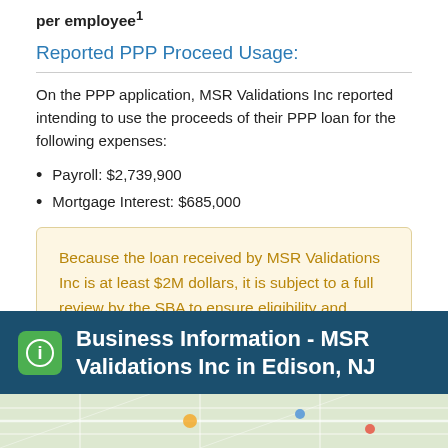per employee¹
Reported PPP Proceed Usage:
On the PPP application, MSR Validations Inc reported intending to use the proceeds of their PPP loan for the following expenses:
Payroll: $2,739,900
Mortgage Interest: $685,000
Because the loan received by MSR Validations Inc is at least $2M dollars, it is subject to a full review by the SBA to ensure eligibility and compliance with PPP program requirements.
Business Information - MSR Validations Inc in Edison, NJ
[Figure (map): Map strip showing partial geographic map at bottom of page]